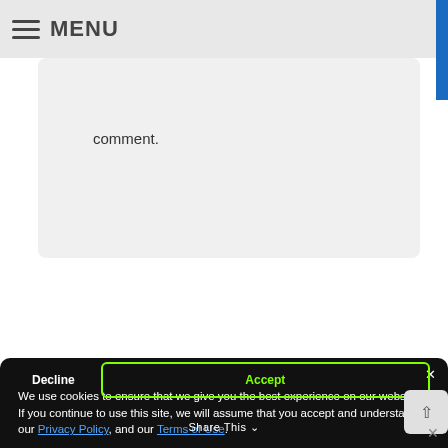≡ MENU
comment.
We use cookies to ensure that we give you the best experience on our website. If you continue to use this site, we will assume that you accept and understand our Privacy Policy, and our Terms of Use.
Decline
Accept
Share This ∨